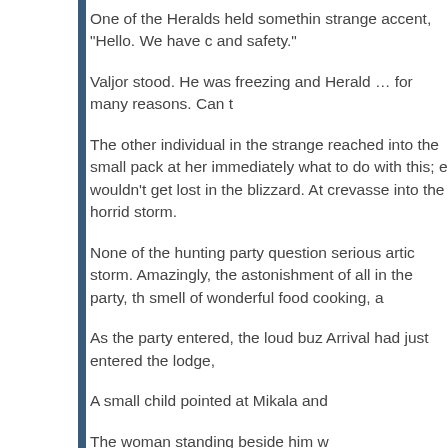One of the Heralds held something strange accent, “Hello. We have c and safety.”
Valjor stood. He was freezing and Herald … for many reasons. Can t
The other individual in the strange reached into the small pack at her immediately what to do with this; e wouldn't get lost in the blizzard. At crevasse into the horrid storm.
None of the hunting party question serious artic storm. Amazingly, the astonishment of all in the party, th smell of wonderful food cooking, a
As the party entered, the loud buz Arrival had just entered the lodge,
A small child pointed at Mikala and
The woman standing beside him w